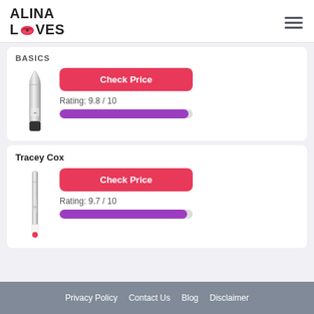ALINA LOVES
BASICS
[Figure (photo): Silver bullet vibrator product image]
Check Price
Rating: 9.8 / 10
Tracey Cox
[Figure (photo): Silver bullet vibrator with pink accent product image]
Check Price
Rating: 9.7 / 10
Privacy Policy   Contact Us   Blog   Disclaimer